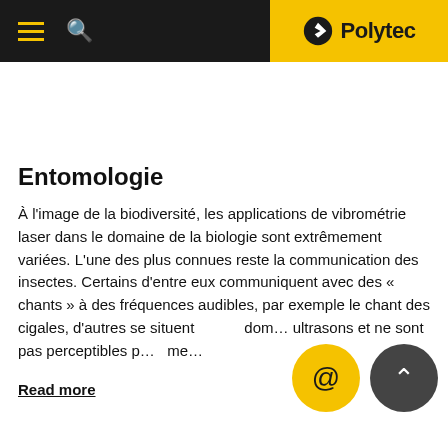Polytec
Entomologie
À l'image de la biodiversité, les applications de vibrométrie laser dans le domaine de la biologie sont extrêmement variées. L'une des plus connues reste la communication des insectes. Certains d'entre eux communiquent avec des « chants » à des fréquences audibles, par exemple le chant des cigales, d'autres se situent dans le domaine des ultrasons et ne sont pas perceptibles par l'homme.
Read more